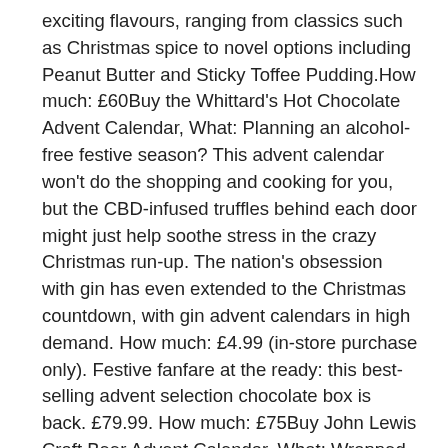exciting flavours, ranging from classics such as Christmas spice to novel options including Peanut Butter and Sticky Toffee Pudding.How much: £60Buy the Whittard's Hot Chocolate Advent Calendar, What: Planning an alcohol-free festive season? This advent calendar won't do the shopping and cooking for you, but the CBD-infused truffles behind each door might just help soothe stress in the crazy Christmas run-up. The nation's obsession with gin has even extended to the Christmas countdown, with gin advent calendars in high demand. How much: £4.99 (in-store purchase only). Festive fanfare at the ready: this best-selling advent selection chocolate box is back. £79.99. How much: £75Buy John Lewis Craft Beer Advent Calendar, What: Wrapped up like a big Christmas present sitting under the tree, this countdown calendar features 24 bottles of beer for you to discover. hollandandbarrett.com, Inside the confines of this cosy cardboard inn, you'll be able to get your fix of some of the most renowned beers around the world. beerhawk.co.uk and amazon.co.uk, Featuring 24